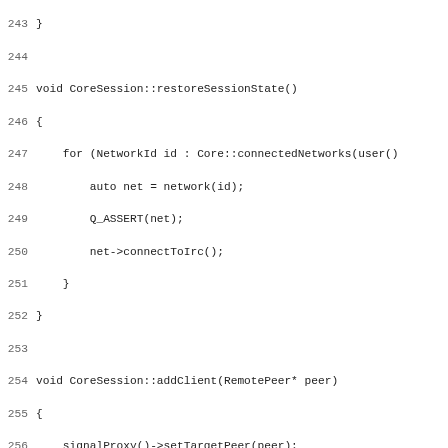Source code listing lines 243-275 showing C++ methods: restoreSessionState(), addClient(RemotePeer*), addClient(InternalPeer*), and start of removeClient(Peer*) in CoreSession class.